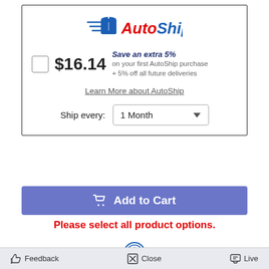[Figure (logo): AutoShip logo with blue shipping box icon and text 'AutoShip' in red and blue]
$16.14   Save an extra 5% on your first AutoShip purchase + 5% off all future deliveries
Learn More about AutoShip
Ship every: 1 Month
Add to Cart
Please select all product options.
Feedback   Close   Live